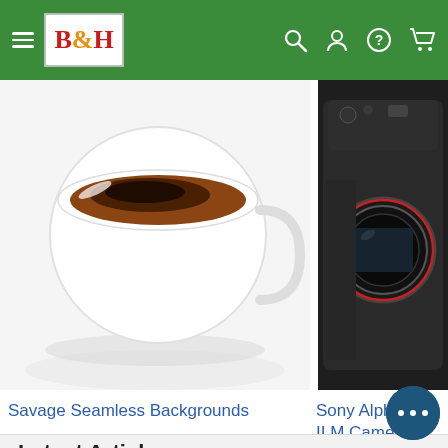B&H header navigation
[Figure (photo): Top-down view of a white coffee cup with espresso/coffee shot, on white background - product image for Savage Seamless Backgrounds]
Savage Seamless Backgrounds
[Figure (photo): Close-up of Sony Alpha a7R II mirrorless camera body, black, showing top controls and lens mount, on dark background]
Sony Alpha a7R II M Camera
Latest Articles
[Figure (photo): Sunset landscape with purple and pink sky over hills or mountains]
[Figure (photo): Dark dramatic sunset with orange-red sky and dark silhouetted landscape/trees]